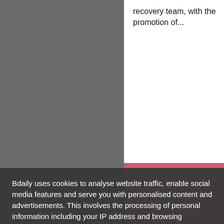recovery team, with the promotion of...
Bdaily uses cookies to analyse website traffic, enable social media features and serve you with personalised content and advertisements. This involves the processing of personal information including your IP address and browsing behaviour. For more information, please see our Cookies Policy
I ACCEPT
Behind the business with
Axonn Media